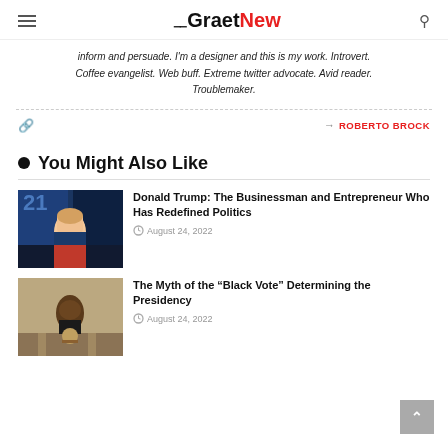GraetNew
inform and persuade. I'm a designer and this is my work. Introvert. Coffee evangelist. Web buff. Extreme twitter advocate. Avid reader. Troublemaker.
→ ROBERTO BROCK
You Might Also Like
[Figure (photo): Donald Trump speaking at a rally with blue background and '21' visible]
Donald Trump: The Businessman and Entrepreneur Who Has Redefined Politics
August 24, 2022
[Figure (photo): Barack Obama speaking at a podium with American flags in background]
The Myth of the "Black Vote" Determining the Presidency
August 24, 2022